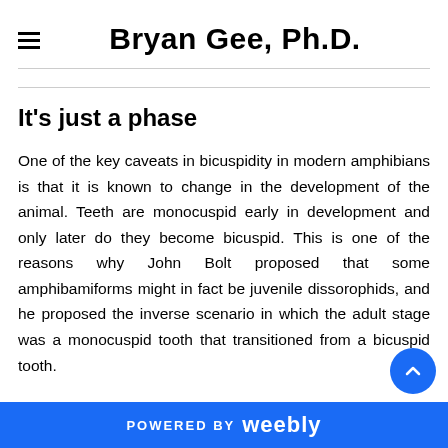Bryan Gee, Ph.D.
It's just a phase
One of the key caveats in bicuspidity in modern amphibians is that it is known to change in the development of the animal. Teeth are monocuspid early in development and only later do they become bicuspid. This is one of the reasons why John Bolt proposed that some amphibamiforms might in fact be juvenile dissorophids, and he proposed the inverse scenario in which the adult stage was a monocuspid tooth that transitioned from a bicuspid tooth.
POWERED BY weebly